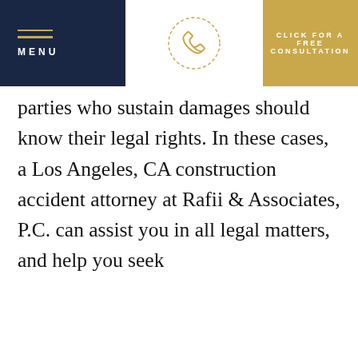MENU | CLICK FOR A FREE CONSULTATION
parties who sustain damages should know their legal rights. In these cases, a Los Angeles, CA construction accident attorney at Rafii & Associates, P.C. can assist you in all legal matters, and help you seek
This website uses cookies to ensure you get the best experience on our website.
Learn more
Accept
views